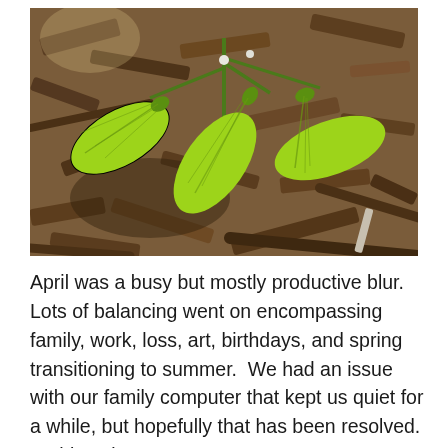[Figure (photo): Close-up photograph of green maple samaras (winged seeds) growing on a plant, set against a background of dry wood chips, mulch, and soil. The seeds are bright green and elongated with visible veining, contrasting with the brown earthy background.]
April was a busy but mostly productive blur.  Lots of balancing went on encompassing family, work, loss, art, birthdays, and spring transitioning to summer.  We had an issue with our family computer that kept us quiet for a while, but hopefully that has been resolved.  At this point, I